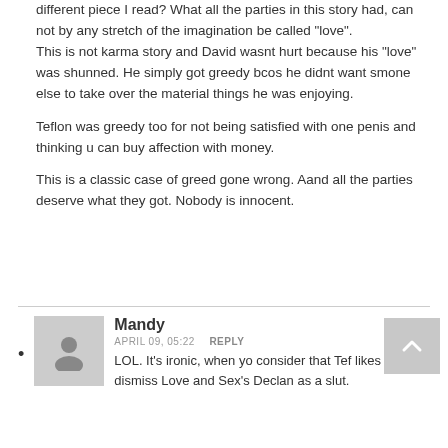different piece I read? What all the parties in this story had, can not by any stretch of the imagination be called "love". This is not karma story and David wasnt hurt because his "love" was shunned. He simply got greedy bcos he didnt want smone else to take over the material things he was enjoying.
Teflon was greedy too for not being satisfied with one penis and thinking u can buy affection with money.
This is a classic case of greed gone wrong. Aand all the parties deserve what they got. Nobody is innocent.
Mandy
APRIL 09, 05:22   REPLY
LOL. It's ironic, when yo consider that Tef likes to dismiss Love and Sex's Declan as a slut.